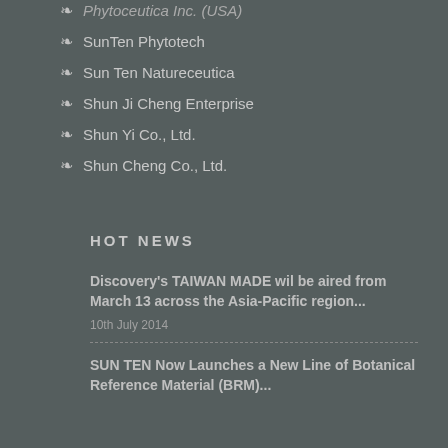Phytoceutica Inc. (USA)
SunTen Phytotech
Sun Ten Natureceutica
Shun Ji Cheng Enterprise
Shun Yi Co., Ltd.
Shun Cheng Co., Ltd.
HOT NEWS
Discovery's TAIWAN MADE wil be aired from March 13 across the Asia-Pacific region...
10th July 2014
SUN TEN Now Launches a New Line of Botanical Reference Material (BRM)...